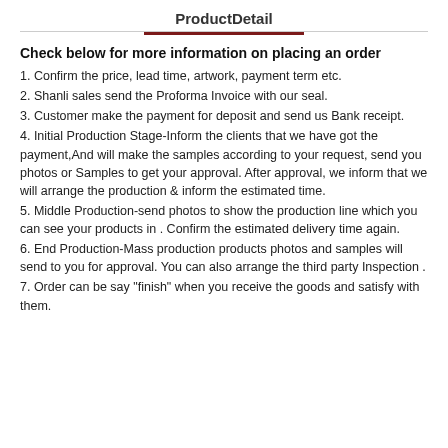ProductDetail
Check below for more information on placing an order
1. Confirm the price, lead time, artwork, payment term etc.
2. Shanli sales send the Proforma Invoice with our seal.
3. Customer make the payment for deposit and send us Bank receipt.
4. Initial Production Stage-Inform the clients that we have got the payment,And will make the samples according to your request, send you photos or Samples to get your approval. After approval, we inform that we will arrange the production & inform the estimated time.
5. Middle Production-send photos to show the production line which you can see your products in . Confirm the estimated delivery time again.
6. End Production-Mass production products photos and samples will send to you for approval. You can also arrange the third party Inspection .
7. Order can be say "finish" when you receive the goods and satisfy with them.